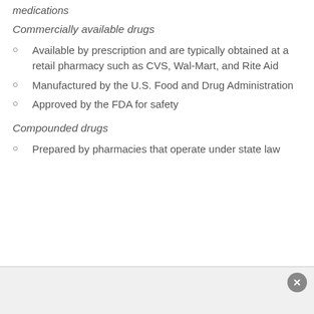medications
Commercially available drugs
Available by prescription and are typically obtained at a retail pharmacy such as CVS, Wal-Mart, and Rite Aid
Manufactured by the U.S. Food and Drug Administration
Approved by the FDA for safety
Compounded drugs
Prepared by pharmacies that operate under state law